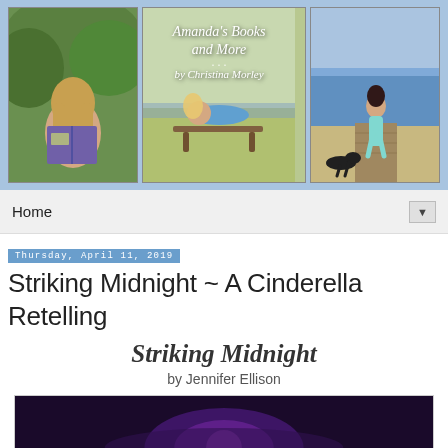[Figure (photo): Header banner for 'Amanda's Books and More by Christina Morley' blog. Three-panel banner on blue background: left panel shows a girl reading a purple book outdoors; center panel has the blog title 'Amanda's Books and More' and byline 'by Christina Morley' with a girl relaxing on a bench; right panel shows a girl walking on a beach boardwalk.]
Home
Thursday, April 11, 2019
Striking Midnight ~ A Cinderella Retelling
Striking Midnight by Jennifer Ellison
[Figure (photo): Partial view of a book cover with dark purple/blue tones at the bottom of the page.]